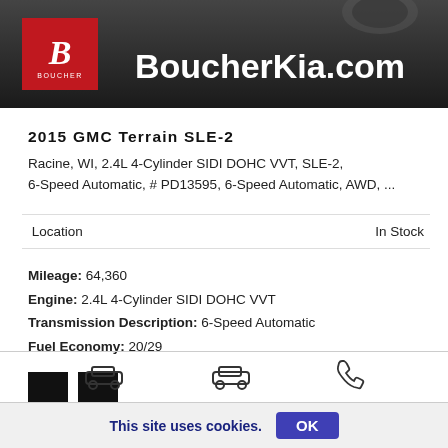[Figure (logo): BoucherKia.com website banner with Boucher logo (red box with white B) and white text BoucherKia.com on dark background, car photo behind]
2015 GMC Terrain SLE-2
Racine, WI, 2.4L 4-Cylinder SIDI DOHC VVT, SLE-2, 6-Speed Automatic, # PD13595, 6-Speed Automatic, AWD, ...
Location   In Stock
Mileage: 64,360
Engine: 2.4L 4-Cylinder SIDI DOHC VVT
Transmission Description: 6-Speed Automatic
Fuel Economy: 20/29
[Figure (other): Two black color swatches]
[Figure (other): Bottom navigation icons: car icon, car icon, phone icon]
This site uses cookies.
OK